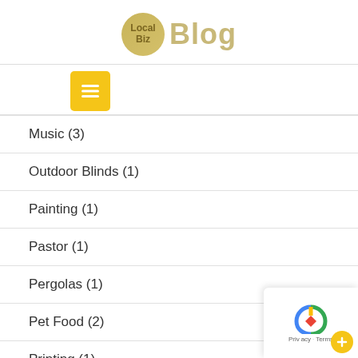Local Biz Blog
[Figure (logo): LocalBiz Blog logo with golden circle containing 'Local Biz' text and 'Blog' text to the right]
Music (3)
Outdoor Blinds (1)
Painting (1)
Pastor (1)
Pergolas (1)
Pet Food (2)
Printing (1)
Products (3)
Public Relations (3)
Relationships (12)
Sociologists (5)